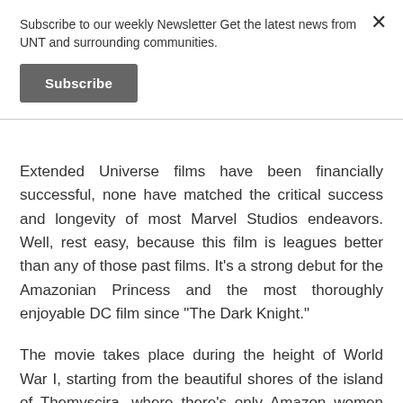Subscribe to our weekly Newsletter Get the latest news from UNT and surrounding communities.
Subscribe
Extended Universe films have been financially successful, none have matched the critical success and longevity of most Marvel Studios endeavors. Well, rest easy, because this film is leagues better than any of those past films. It's a strong debut for the Amazonian Princess and the most thoroughly enjoyable DC film since “The Dark Knight.”
The movie takes place during the height of World War I, starting from the beautiful shores of the island of Themyscira, where there's only Amazon women warriors shielded and